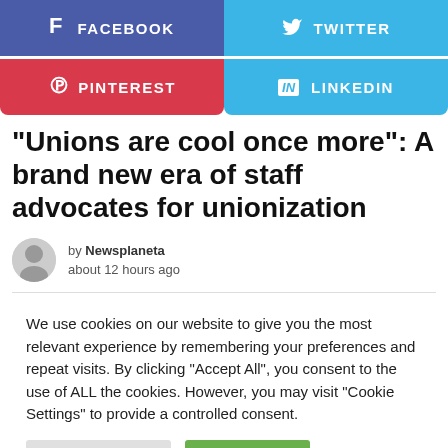[Figure (other): Social media share buttons: Facebook (blue-purple), Twitter (light blue), Pinterest (red), LinkedIn (light blue)]
“Unions are cool once more”: A brand new era of staff advocates for unionization
by Newsplaneta
about 12 hours ago
We use cookies on our website to give you the most relevant experience by remembering your preferences and repeat visits. By clicking “Accept All”, you consent to the use of ALL the cookies. However, you may visit "Cookie Settings" to provide a controlled consent.
Cookie Settings | Accept All